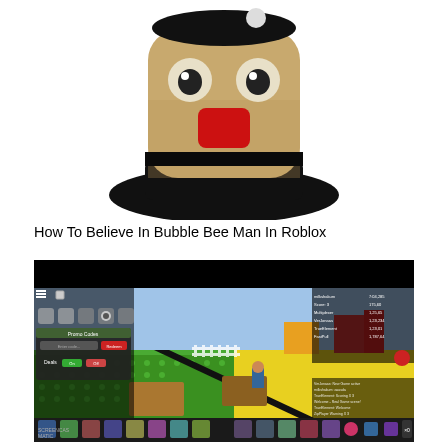[Figure (photo): Roblox Bubble Bee Man character head with a round beige/gold face, red nose, black hat, viewed from above on a black base]
How To Believe In Bubble Bee Man In Roblox
[Figure (screenshot): Roblox game screenshot showing a green and yellow checkered game world with a character standing on platforms, UI elements on the left including a Promo Codes panel with fields, game icons at top, and a chat/leaderboard panel on the right side with player names and scores]